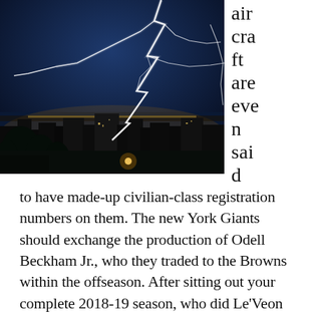[Figure (photo): Night cityscape with dramatic lightning bolts over a coastal city, dark blue sky, city lights reflecting on water, trees and buildings silhouetted in foreground.]
air craft are even said
to have made-up civilian-class registration numbers on them. The new York Giants should exchange the production of Odell Beckham Jr., who they traded to the Browns within the offseason. After sitting out your complete 2018-19 season, who did Le'Veon Bell sign with in free agency? They acquired among the finest in the game in Le'Veon Bell, who ought to come into